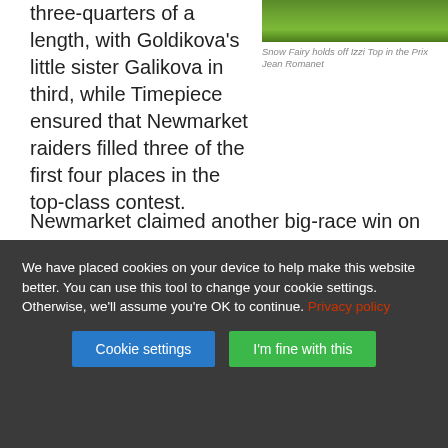[Figure (photo): Green turf/grass field photo strip at top right]
Snow Fairy holds off Izzi Top in the Prix Jean Romanet
three-quarters of a length, with Goldikova's little sister Galikova in third, while Timepiece ensured that Newmarket raiders filled three of the first four places in the top-class contest.
Newmarket claimed another big-race win on French turf via the Marco Botti-trained Joshua Tree, who won the Group 2 Prix Kergorlay less than 24 hours after his stable-mate Jakkalberry won the inaugural American St Leger at Arlington Park in Chicago.
We have placed cookies on your device to help make this website better. You can use this tool to change your cookie settings. Otherwise, we'll assume you're OK to continue. Privacy policy
Cookie settings
I'm fine with this